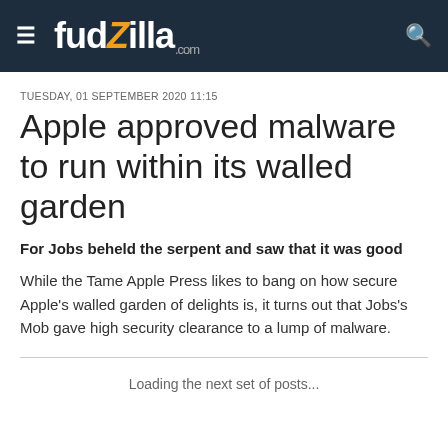fudzilla.com
TUESDAY, 01 SEPTEMBER 2020 11:15
Apple approved malware to run within its walled garden
For Jobs beheld the serpent and saw that it was good
While the Tame Apple Press likes to bang on how secure Apple's walled garden of delights is, it turns out that Jobs's Mob gave high security clearance to a lump of malware.
Loading the next set of posts...